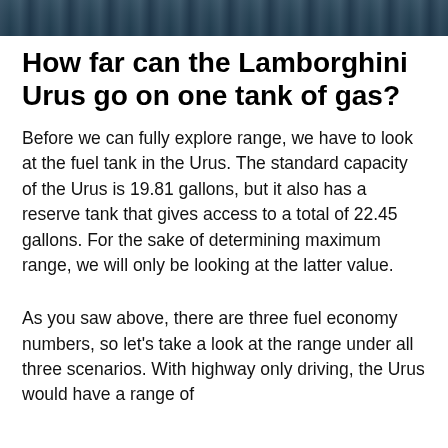[Figure (photo): Partial top strip of an image showing a Lamborghini Urus or similar vehicle, dark tones with blue-grey coloring]
How far can the Lamborghini Urus go on one tank of gas?
Before we can fully explore range, we have to look at the fuel tank in the Urus. The standard capacity of the Urus is 19.81 gallons, but it also has a reserve tank that gives access to a total of 22.45 gallons. For the sake of determining maximum range, we will only be looking at the latter value.
As you saw above, there are three fuel economy numbers, so let’s take a look at the range under all three scenarios. With highway only driving, the Urus would have a range of